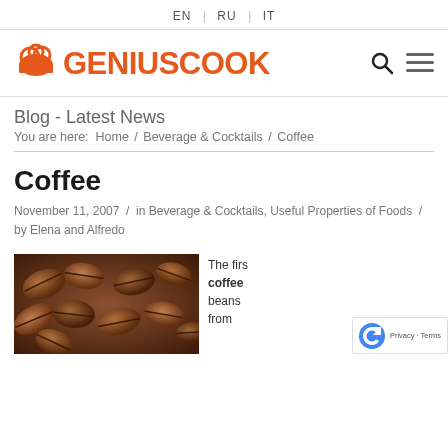EN | RU | IT
[Figure (logo): GeniusCook logo with chef hat icon in orange and text GENIUSCOOK in orange bold uppercase, with search and menu icons on the right]
Blog - Latest News
You are here: Home / Beverage & Cocktails / Coffee
Coffee
November 11, 2007 / in Beverage & Cocktails, Useful Properties of Foods / by Elena and Alfredo
[Figure (photo): Close-up photo of roasted coffee beans, brown tones]
The first coffee beans from